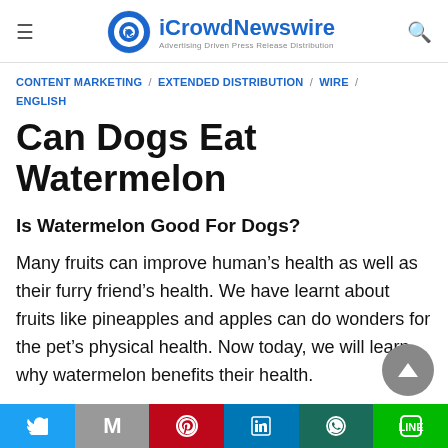iCrowdNewswire — Advertising Driven Press Release Distribution
CONTENT MARKETING / EXTENDED DISTRIBUTION / WIRE / ENGLISH
Can Dogs Eat Watermelon
Is Watermelon Good For Dogs?
Many fruits can improve human's health as well as their furry friend's health. We have learnt about fruits like pineapples and apples can do wonders for the pet's physical health. Now today, we will learn why watermelon benefits their health.
Twitter | Gmail | Pinterest | LinkedIn | WhatsApp | Line